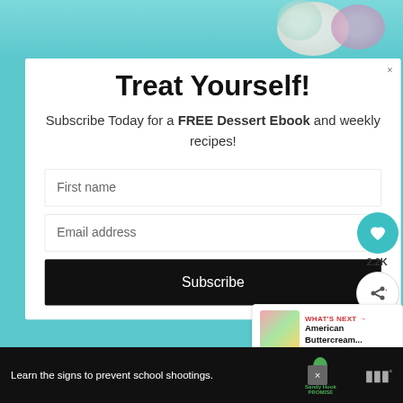[Figure (screenshot): Teal/turquoise background with white cupcake/dessert decoration visible at top]
Treat Yourself!
Subscribe Today for a FREE Dessert Ebook and weekly recipes!
First name
Email address
Subscribe
WHAT'S NEXT → American Buttercream...
2.2K
Learn the signs to prevent school shootings.